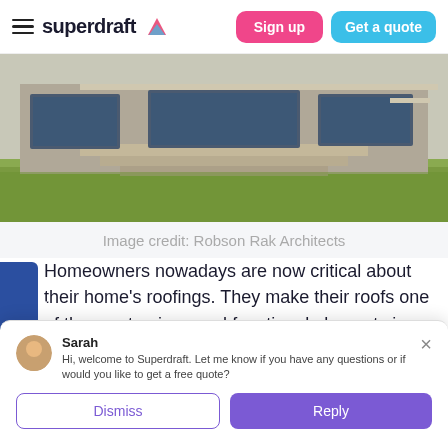superdraft — Sign up | Get a quote
[Figure (photo): Exterior of a modern concrete house with large glass windows, wide steps, and a green lawn in the foreground]
Image credit: Robson Rak Architects
Homeowners nowadays are now critical about their home's roofings. They make their roofs one of the most unique and functional elements in their homes. They use  premium roofing materials and work with talented home designers who can make
Sarah
Hi, welcome to Superdraft. Let me know if you have any questions or if would you like to get a free quote?